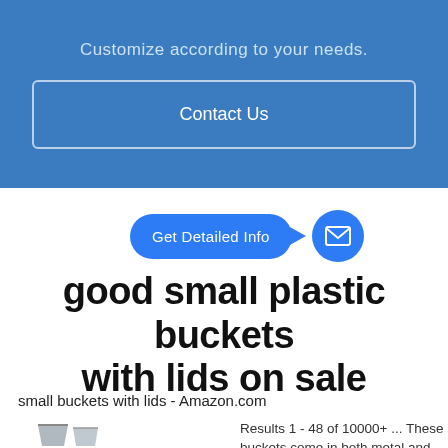Customize according to your needs.
Contact Us
[Figure (infographic): Blue chat bubble with text 'Get Detailed Info' and an arrow pointing to a blue circle with a mail/envelope icon]
good small plastic buckets with lids on sale
small buckets with lids - Amazon.com
Results 1 - 48 of 10000+ ... These buckets come in both metal and